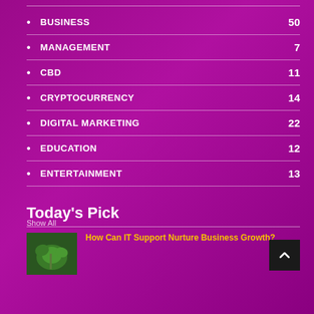BUSINESS 50
MANAGEMENT 7
CBD 11
CRYPTOCURRENCY 14
DIGITAL MARKETING 22
EDUCATION 12
ENTERTAINMENT 13
Show All
Today's Pick
How Can IT Support Nurture Business Growth?